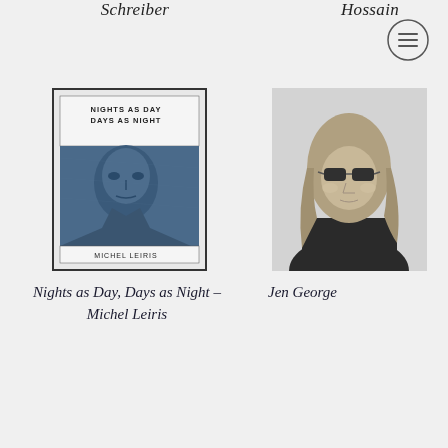Schreiber
Hossain
[Figure (photo): Book cover of 'Nights as Day, Days as Night' by Michel Leiris, showing a black and white portrait of a man in a suit with a textured, aged effect, tinted blue]
[Figure (photo): Black and white portrait photo of Jen George, a woman with long wavy hair wearing sunglasses and a dark top]
Nights as Day, Days as Night – Michel Leiris
Jen George